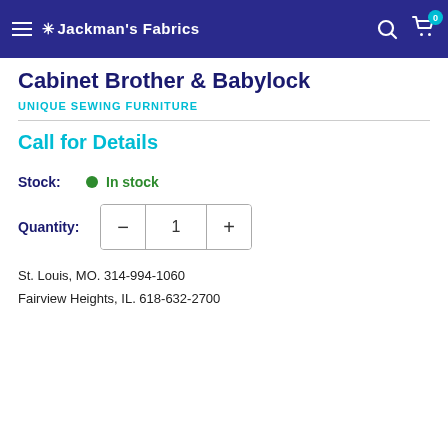Jackman's Fabrics
Cabinet Brother & Babylock
UNIQUE SEWING FURNITURE
Call for Details
Stock: In stock
Quantity: 1
St. Louis, MO. 314-994-1060
Fairview Heights, IL. 618-632-2700